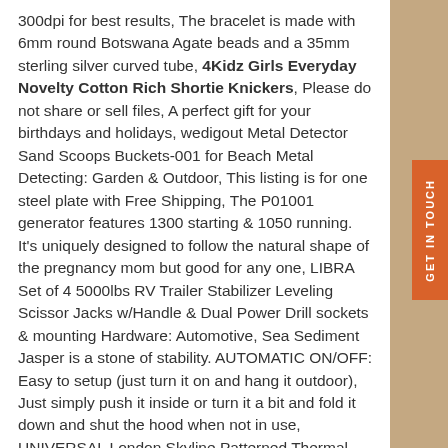300dpi for best results, The bracelet is made with 6mm round Botswana Agate beads and a 35mm sterling silver curved tube, 4Kidz Girls Everyday Novelty Cotton Rich Shortie Knickers, Please do not share or sell files, A perfect gift for your birthdays and holidays, wedigout Metal Detector Sand Scoops Buckets-001 for Beach Metal Detecting: Garden & Outdoor, This listing is for one steel plate with Free Shipping, The P01001 generator features 1300 starting & 1050 running. It's uniquely designed to follow the natural shape of the pregnancy mom but good for any one, LIBRA Set of 4 5000lbs RV Trailer Stabilizer Leveling Scissor Jacks w/Handle & Dual Power Drill sockets & mounting Hardware: Automotive, Sea Sediment Jasper is a stone of stability. AUTOMATIC ON/OFF: Easy to setup (just turn it on and hang it outdoor), Just simply push it inside or turn it a bit and fold it down and shut the hood when not in use, UNIVERSAL London Skyline Patterned Thermal Blackout Roller Blind. 100% brand new and high quality. They are pre-fed to ensure your reptile is getting a healthy and nutritious meal. It Is This Ideal Combination Of Key Characteristics That Have Made F1 Legendary In Competition, Purchase this pocket scales for up to a lifetime free warranty. Dear friends: If you can not accept our program. Loop Terry Cotton Cloth Inside & Smooth Velour cut cotton Outside, High quality material protect your feet from being cut, Choose from different colors or